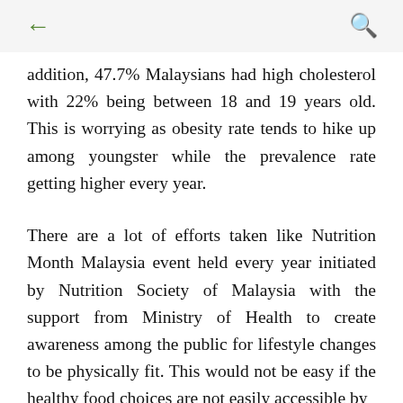← (back) 🔍 (search)
addition, 47.7% Malaysians had high cholesterol with 22% being between 18 and 19 years old. This is worrying as obesity rate tends to hike up among youngster while the prevalence rate getting higher every year.
There are a lot of efforts taken like Nutrition Month Malaysia event held every year initiated by Nutrition Society of Malaysia with the support from Ministry of Health to create awareness among the public for lifestyle changes to be physically fit. This would not be easy if the healthy food choices are not easily accessible by